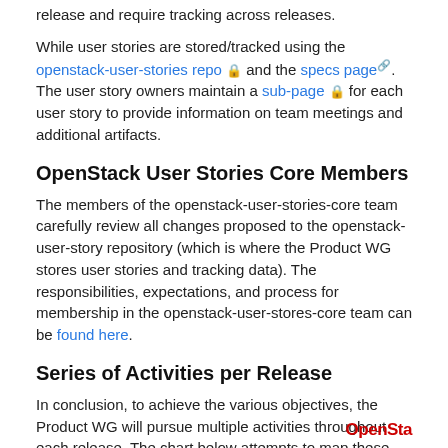release and require tracking across releases.
While user stories are stored/tracked using the openstack-user-stories repo 🔒 and the specs page 🔗. The user story owners maintain a sub-page 🔒 for each user story to provide information on team meetings and additional artifacts.
OpenStack User Stories Core Members
The members of the openstack-user-stories-core team carefully review all changes proposed to the openstack-user-story repository (which is where the Product WG stores user stories and tracking data). The responsibilities, expectations, and process for membership in the openstack-user-stores-core team can be found here.
Series of Activities per Release
In conclusion, to achieve the various objectives, the Product WG will pursue multiple activities throughout each release. The chart below attempts to map these activities on top of the standard 6-month release schedule for OpenStack releases.
OpenSta...